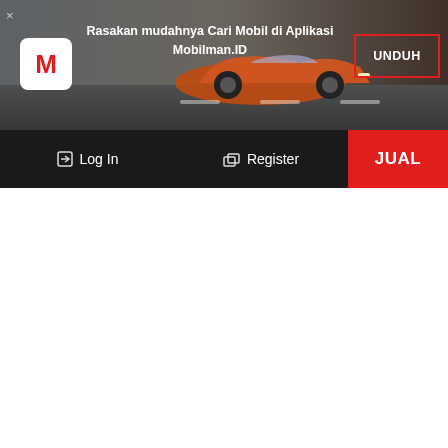[Figure (screenshot): Mobilman.ID app promotional banner with orange sports car background, red M logo, text 'Rasakan mudahnya Cari Mobil di Aplikasi Mobilman.ID', and UNDUH button with red border]
Rasakan mudahnya Cari Mobil di Aplikasi Mobilman.ID
UNDUH
Log In
Register
JUAL